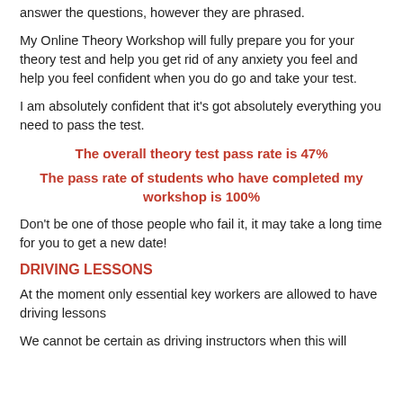answer the questions, however they are phrased.
My Online Theory Workshop will fully prepare you for your theory test and help you get rid of any anxiety you feel and help you feel confident when you do go and take your test.
I am absolutely confident that it's got absolutely everything you need to pass the test.
The overall theory test pass rate is 47%
The pass rate of students who have completed my workshop is 100%
Don't be one of those people who fail it, it may take a long time for you to get a new date!
DRIVING LESSONS
At the moment only essential key workers are allowed to have driving lessons
We cannot be certain as driving instructors when this will